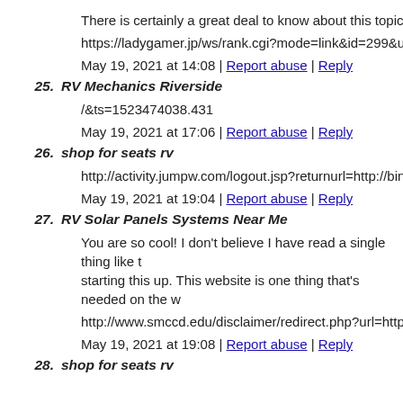There is certainly a great deal to know about this topic. I really…
https://ladygamer.jp/ws/rank.cgi?mode=link&id=299&url=http…
May 19, 2021 at 14:08 | Report abuse | Reply
25. RV Mechanics Riverside
/&ts=1523474038.431
May 19, 2021 at 17:06 | Report abuse | Reply
26. shop for seats rv
http://activity.jumpw.com/logout.jsp?returnurl=http://bindann…
May 19, 2021 at 19:04 | Report abuse | Reply
27. RV Solar Panels Systems Near Me
You are so cool! I don't believe I have read a single thing like t… starting this up. This website is one thing that's needed on the w…
http://www.smccd.edu/disclaimer/redirect.php?url=http://www…
May 19, 2021 at 19:08 | Report abuse | Reply
28. shop for seats rv